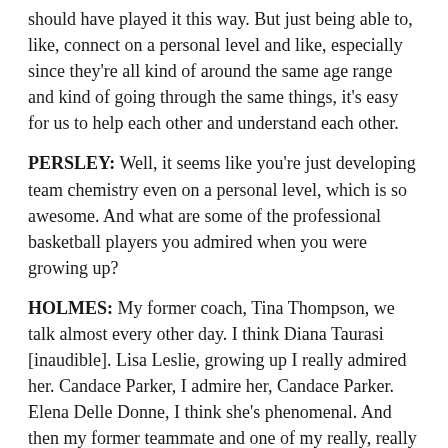should have played it this way. But just being able to, like, connect on a personal level and like, especially since they're all kind of around the same age range and kind of going through the same things, it's easy for us to help each other and understand each other.
PERSLEY: Well, it seems like you're just developing team chemistry even on a personal level, which is so awesome. And what are some of the professional basketball players you admired when you were growing up?
HOLMES: My former coach, Tina Thompson, we talk almost every other day. I think Diana Taurasi [inaudible]. Lisa Leslie, growing up I really admired her. Candace Parker, I admire her, Candace Parker. Elena Delle Donne, I think she's phenomenal. And then my former teammate and one of my really, really good friends, Ariel Atkins.
PERSLEY: Yeah, there's just some awesome people, and I know you mentioned your coach Tina Thompson, what is the best advice you got from her?
HOLMES: Just continuing to show that you belong, I think that's a big, big one. The simplicity of the thing and everything, like, I belong and there's a reason why people —